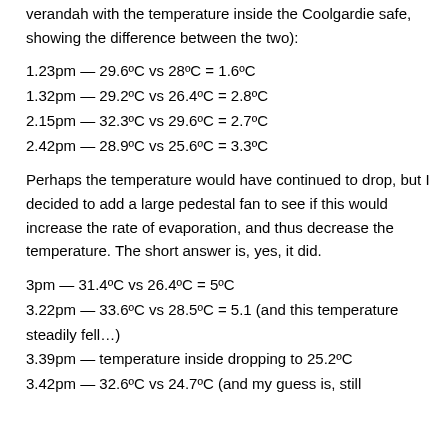verandah with the temperature inside the Coolgardie safe, showing the difference between the two):
1.23pm — 29.6ºC vs 28ºC = 1.6ºC
1.32pm — 29.2ºC vs 26.4ºC = 2.8ºC
2.15pm — 32.3ºC vs 29.6ºC = 2.7ºC
2.42pm — 28.9ºC vs 25.6ºC = 3.3ºC
Perhaps the temperature would have continued to drop, but I decided to add a large pedestal fan to see if this would increase the rate of evaporation, and thus decrease the temperature. The short answer is, yes, it did.
3pm — 31.4ºC vs 26.4ºC = 5ºC
3.22pm — 33.6ºC vs 28.5ºC = 5.1 (and this temperature steadily fell…)
3.39pm — temperature inside dropping to 25.2ºC
3.42pm — 32.6ºC vs 24.7ºC (and my guess is, still